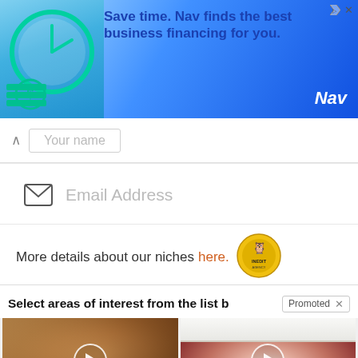[Figure (other): Nav advertisement banner: clock/dollar graphic on left, blue background, text 'Save time. Nav finds the best business financing for you.' with Nav logo]
Your name
Email Address
More details about our niches here.
[Figure (logo): Inedit Agency circular yellow logo]
Select areas of interest from the list b
Promoted
[Figure (photo): Close-up of human ear with play button overlay]
Silence Tinnitus By Doing This Immediately!
465
[Figure (photo): Close-up of open mouth/tongue with blue pill and play button overlay]
What They Didn't Want You Knowing About Metformin
6,597